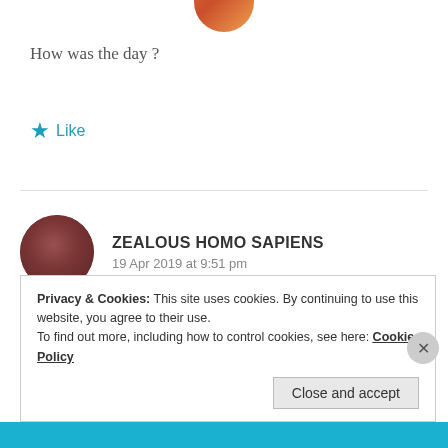[Figure (photo): Circular profile avatar partially visible at top, colorful image cropped]
How was the day ?
★ Like
[Figure (photo): Circular profile avatar of a person with dark hair, dark reddish-brown tones]
ZEALOUS HOMO SAPIENS
19 Apr 2019 at 9:51 pm
Nice, yours?
Privacy & Cookies: This site uses cookies. By continuing to use this website, you agree to their use.
To find out more, including how to control cookies, see here: Cookie Policy
Close and accept